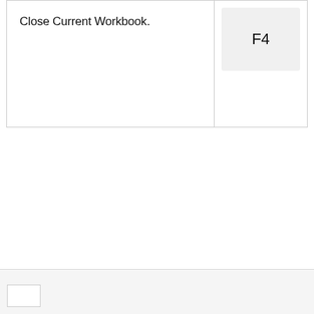| Description | Shortcut |
| --- | --- |
| Close Current Workbook. | F4 |